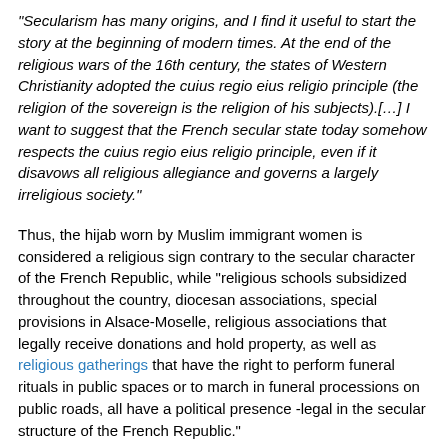“Secularism has many origins, and I find it useful to start the story at the beginning of modern times. At the end of the religious wars of the 16th century, the states of Western Christianity adopted the cuius regio eius religio principle (the religion of the sovereign is the religion of his subjects).[…] I want to suggest that the French secular state today somehow respects the cuius regio eius religio principle, even if it disavows all religious allegiance and governs a largely irreligious society.
Thus, the hijab worn by Muslim immigrant women is considered a religious sign contrary to the secular character of the French Republic, while “religious schools subsidized throughout the country, diocesan associations, special provisions in Alsace-Moselle, religious associations that legally receive donations and hold property, as well as religious gatherings that have the right to perform funeral rituals in public spaces or to march in funeral processions on public roads, all have a political presence -legal in the secular structure of the French Republic."